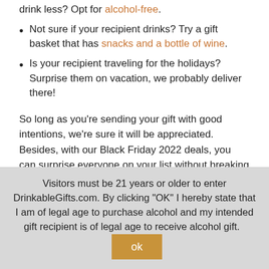drink less? Opt for alcohol-free.
Not sure if your recipient drinks? Try a gift basket that has snacks and a bottle of wine.
Is your recipient traveling for the holidays? Surprise them on vacation, we probably deliver there!
So long as you're sending your gift with good intentions, we're sure it will be appreciated. Besides, with our Black Friday 2022 deals, you can surprise everyone on your list without breaking the bank, a win-win for everyone.
Sending gifts to multiple addresses or countries?
Visitors must be 21 years or older to enter DrinkableGifts.com. By clicking "OK" I hereby state that I am of legal age to purchase alcohol and my intended gift recipient is of legal age to receive alcohol gift.